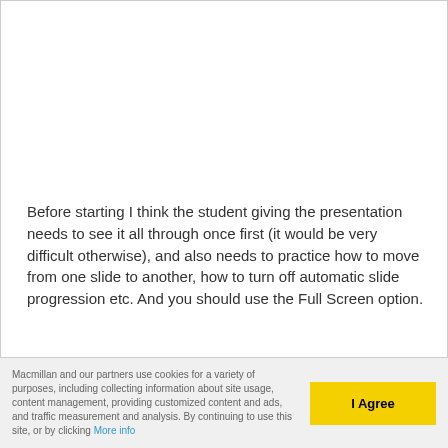Before starting I think the student giving the presentation needs to see it all through once first (it would be very difficult otherwise), and also needs to practice how to move from one slide to another, how to turn off automatic slide progression etc. And you should use the Full Screen option.
Macmillan and our partners use cookies for a variety of purposes, including collecting information about site usage, content management, providing customized content and ads, and traffic measurement and analysis. By continuing to use this site, or by clicking More info